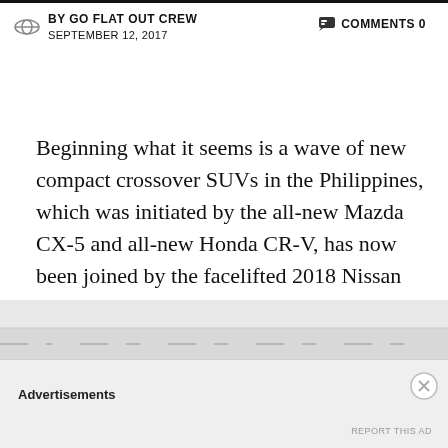BY GO FLAT OUT CREW   COMMENTS 0   SEPTEMBER 12, 2017
Beginning what it seems is a wave of new compact crossover SUVs in the Philippines, which was initiated by the all-new Mazda CX-5 and all-new Honda CR-V, has now been joined by the facelifted 2018 Nissan X-Trail, and its highlight is its Intelligent Mobility safety suite.
[Figure (illustration): Illustration of a car on a road as seen from above, with a dashboard gauge visible at the bottom-left, showing a car driving on a road with dashed lane markings and another car ahead.]
Advertisements